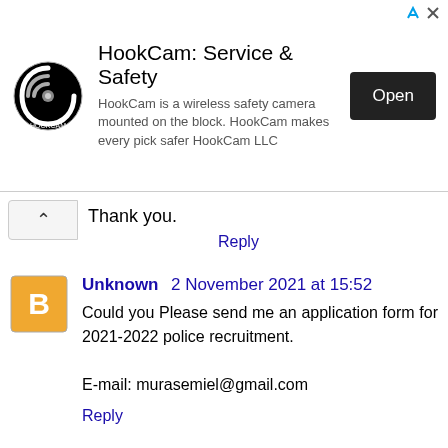[Figure (screenshot): HookCam ad banner with logo, title 'HookCam: Service & Safety', description text, and Open button]
Thank you.
Reply
Unknown 2 November 2021 at 15:52
Could you Please send me an application form for 2021-2022 police recruitment.

E-mail: murasemiel@gmail.com
Reply
Unknown 8 November 2021 at 02:58
Dear Sir/Madam I am an interested applicant who kindly ask, if you can send me a application form for 2021-2022 police recruitment.